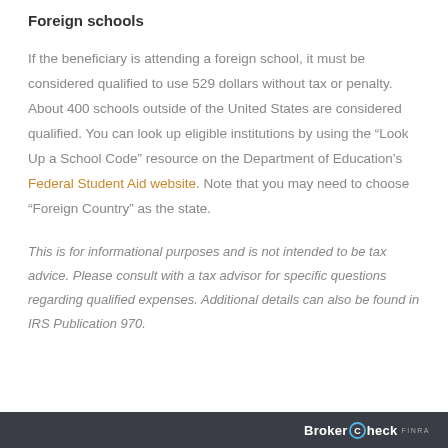Foreign schools
If the beneficiary is attending a foreign school, it must be considered qualified to use 529 dollars without tax or penalty. About 400 schools outside of the United States are considered qualified. You can look up eligible institutions by using the “Look Up a School Code” resource on the Department of Education’s Federal Student Aid website. Note that you may need to choose “Foreign Country” as the state.
This is for informational purposes and is not intended to be tax advice. Please consult with a tax advisor for specific questions regarding qualified expenses. Additional details can also be found in IRS Publication 970.
BrokerCheck FINRA